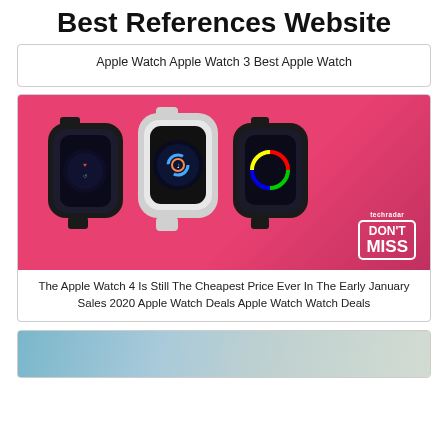Best References Website
Apple Watch Apple Watch 3 Best Apple Watch
[Figure (photo): Three Apple Watches displayed on a pink/red background with a TechRadar 'DON'T MISS' badge in the bottom right corner.]
The Apple Watch 4 Is Still The Cheapest Price Ever In The Early January Sales 2020 Apple Watch Deals Apple Watch Watch Deals
[Figure (photo): Partial view of a third card with a light blue/grey background image, cut off at the bottom of the page.]